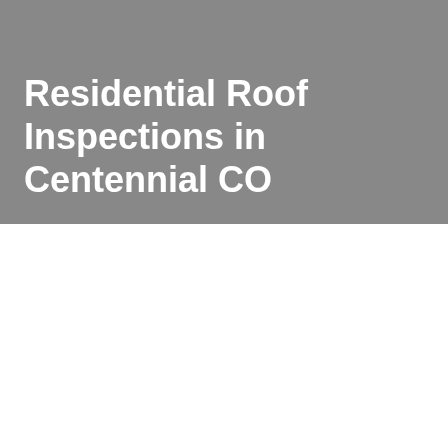Residential Roof Inspections in Centennial CO